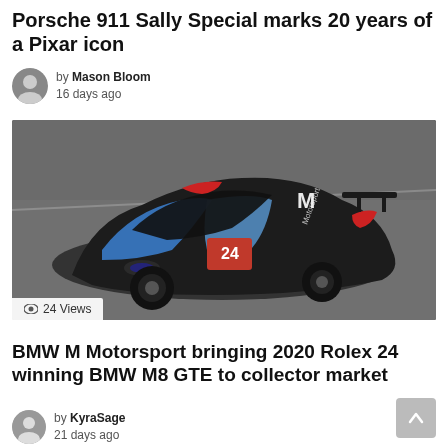Porsche 911 Sally Special marks 20 years of a Pixar icon
by Mason Bloom
16 days ago
[Figure (photo): BMW M8 GTE race car in black, blue and red livery with number 24, photographed on a racetrack]
24 Views
BMW M Motorsport bringing 2020 Rolex 24 winning BMW M8 GTE to collector market
by KyraSage
21 days ago